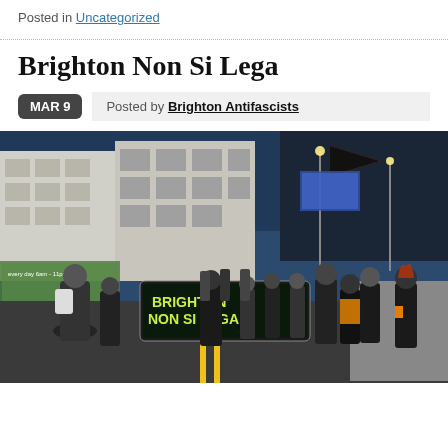Posted in Uncategorized
Brighton Non Si Lega
MAR 9  Posted by Brighton Antifascists
[Figure (photo): Street protest photo showing a crowd of people marching through a city street at dusk. Several people hold a large banner reading 'BRIGHTON NON SI LEGA'. A red and black anarchist flag is visible in the background along with city buildings and street lights.]